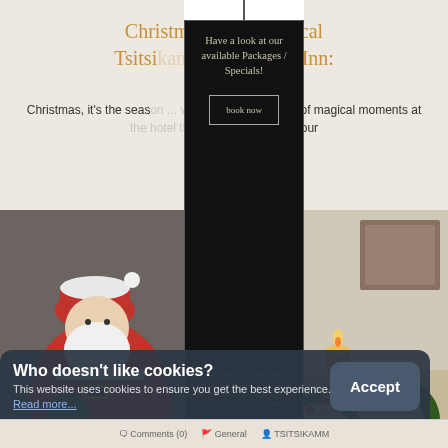Christmas at the magical Tsitsikamma Inn:
Posted 2021-09
Christmas, it's the season... we will be having a lot of magical moments at... year along with all our
[Figure (photo): Santa Claus figurine/toy holding a bag]
[Figure (other): Black popup card with text: Have a look at our available Packages / Specials!, book now button, and COVID note]
[Figure (photo): Christmas candle and wreath with red berries and pine]
Who doesn't like cookies?
This website uses cookies to ensure you get the best experience.
Read more...
Accept
Comments (0)   General   TSITSIKAMM